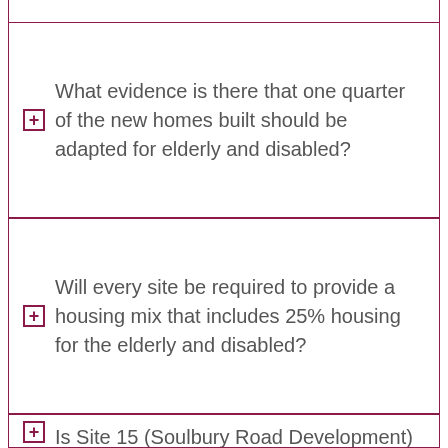What evidence is there that one quarter of the new homes built should be adapted for elderly and disabled?
Will every site be required to provide a housing mix that includes 25% housing for the elderly and disabled?
Is Site 15 (Soulbury Road Development) going to be included in the Neighbourhood